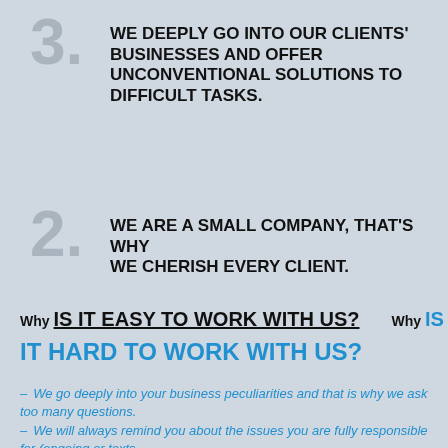3. WE DEEPLY GO INTO OUR CLIENTS' BUSINESSES AND OFFER UNCONVENTIONAL SOLUTIONS TO DIFFICULT TASKS.
2. WE ARE A SMALL COMPANY, THAT'S WHY WE CHERISH EVERY CLIENT.
Why IS IT EASY TO WORK WITH US? Why IS
IT HARD TO WORK WITH US?
– We go deeply into your business peculiarities and that is why we ask too many questions.
– We will always remind you about the issues you are fully responsible for (ongoing or tasks...